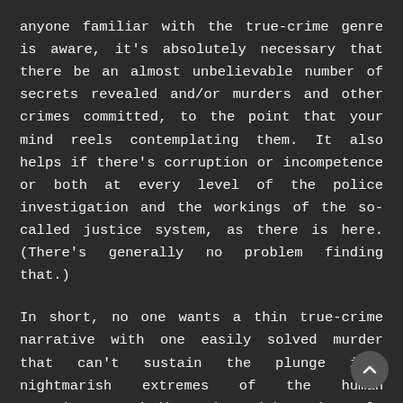anyone familiar with the true-crime genre is aware, it's absolutely necessary that there be an almost unbelievable number of secrets revealed and/or murders and other crimes committed, to the point that your mind reels contemplating them. It also helps if there's corruption or incompetence or both at every level of the police investigation and the workings of the so-called justice system, as there is here. (There's generally no problem finding that.)
In short, no one wants a thin true-crime narrative with one easily solved murder that can't sustain the plunge into nightmarish extremes of the human experience. Finding the right, insanely convoluted crime or the most astonishingly terrible murderer is half the battle. Author Ann Rule is generally considered the queen of these tales in book form, and how did she get her start? By stumbling into the most head-spinning real-life story herself. She volunteered to work at a suicide hotline in